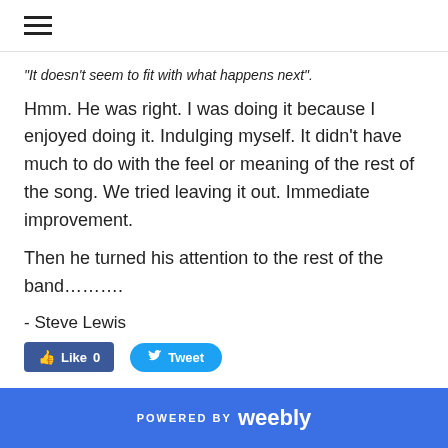☰
“It doesn’t seem to fit with what happens next”.
Hmm. He was right. I was doing it because I enjoyed doing it. Indulging myself. It didn’t have much to do with the feel or meaning of the rest of the song. We tried leaving it out. Immediate improvement.
Then he turned his attention to the rest of the band…………
- Steve Lewis
[Figure (other): Facebook Like button with count 0 and Twitter Tweet button]
POWERED BY weebly